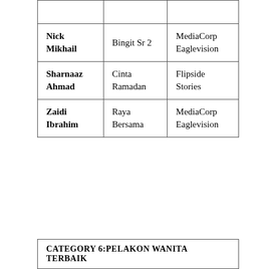|  |  |  |
| --- | --- | --- |
| Nick Mikhail | Bingit Sr 2 | MediaCorp Eaglevision |
| Sharnaaz Ahmad | Cinta Ramadan | Flipside Stories |
| Zaidi Ibrahim | Raya Bersama | MediaCorp Eaglevision |
CATEGORY 6:PELAKON WANITA TERBAIK